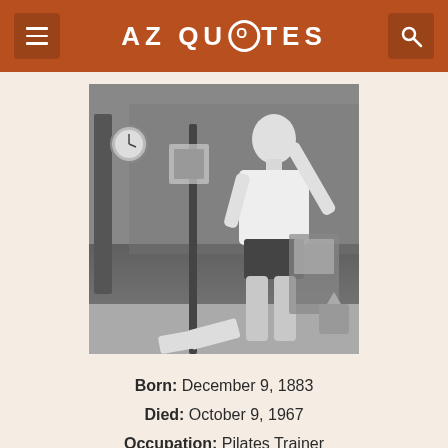AZ QUOTES
[Figure (photo): Black and white photograph of a muscular man standing in a gym, wearing a white shirt and dark shorts, reaching up with one arm, with gym equipment visible in the background.]
Born: December 9, 1883
Died: October 9, 1967
Occupation: Pilates Trainer
Cite this Page: Citation